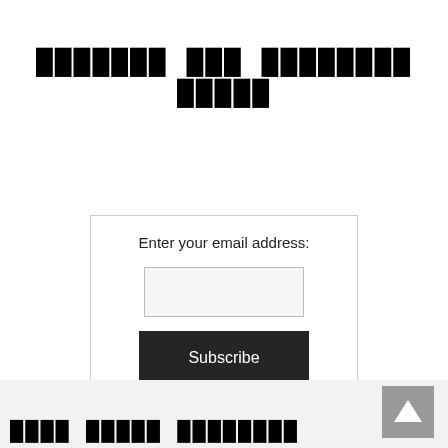███████ ███ ████████ █████
[Figure (screenshot): Email subscription widget with label 'Enter your email address:', an empty text input field, a dark 'Subscribe' button, and 'Delivered by FeedBurner' link text, all inside a bordered box.]
Enter your email address:
Subscribe
Delivered by FeedBurner
[Figure (other): Scroll-to-top button with upward arrow, gray background, positioned at bottom right.]
████ █████ ████████